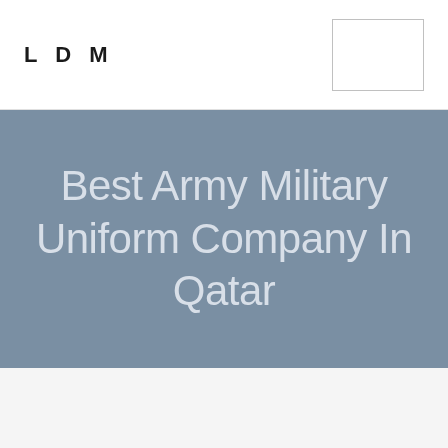LDM
Best Army Military Uniform Company In Qatar